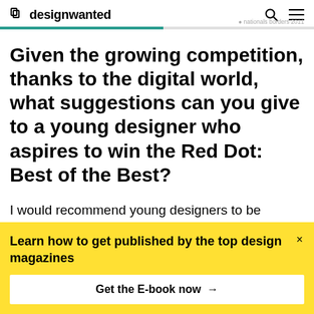designwanted
Given the growing competition, thanks to the digital world, what suggestions can you give to a young designer who aspires to win the Red Dot: Best of the Best?
I would recommend young designers to be courageous and to try out new things.
Learn how to get published by the top design magazines
Get the E-book now →